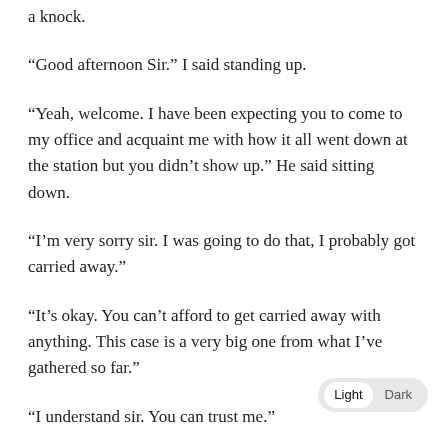a knock.
“Good afternoon Sir.” I said standing up.
“Yeah, welcome. I have been expecting you to come to my office and acquaint me with how it all went down at the station but you didn’t show up.” He said sitting down.
“I’m very sorry sir. I was going to do that, I probably got carried away.”
“It’s okay. You can’t afford to get carried away with anything. This case is a very big one from what I’ve gathered so far.”
“I understand sir. You can trust me.”
“Okay. Hope everything is alright though?” He asked feeling concerned as he tried to walk away from the office